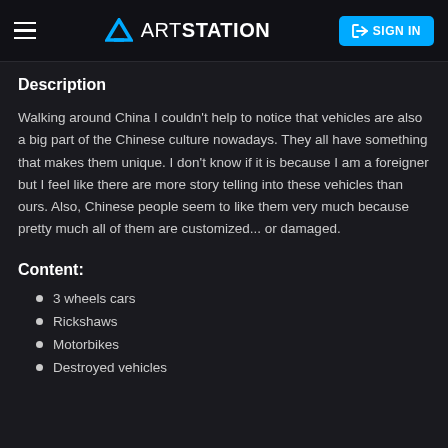ArtStation — SIGN IN
Description
Walking around China I couldn't help to notice that vehicles are also a big part of the Chinese culture nowadays. They all have something that makes them unique. I don't know if it is because I am a foreigner but I feel like there are more story telling into these vehicles than ours. Also, Chinese people seem to like them very much because pretty much all of them are customized... or damaged.
Content:
3 wheels cars
Rickshaws
Motorbikes
Destroyed vehicles